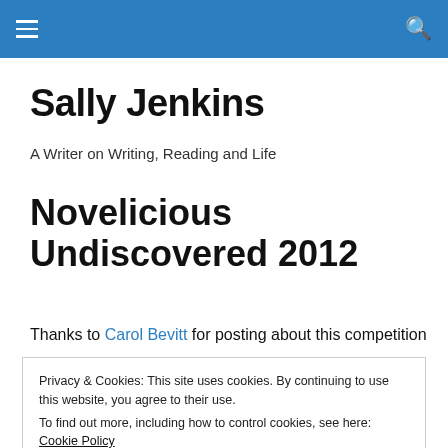Navigation bar with hamburger menu and search icon
Sally Jenkins
A Writer on Writing, Reading and Life
Novelicious Undiscovered 2012
Thanks to Carol Bevitt for posting about this competition
Privacy & Cookies: This site uses cookies. By continuing to use this website, you agree to their use.
To find out more, including how to control cookies, see here: Cookie Policy
Close and accept